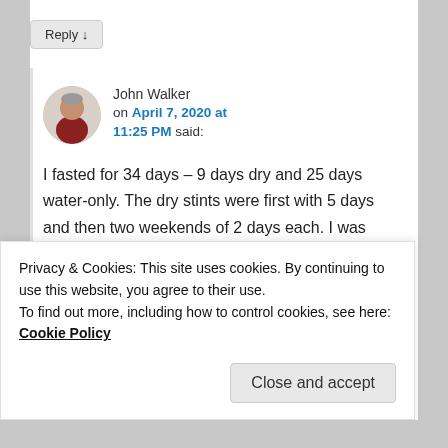Reply ↓
John Walker on April 7, 2020 at 11:25 PM said:
I fasted for 34 days – 9 days dry and 25 days water-only. The dry stints were first with 5 days and then two weekends of 2 days each. I was completing a 6 week...
Privacy & Cookies: This site uses cookies. By continuing to use this website, you agree to their use.
To find out more, including how to control cookies, see here: Cookie Policy
Close and accept